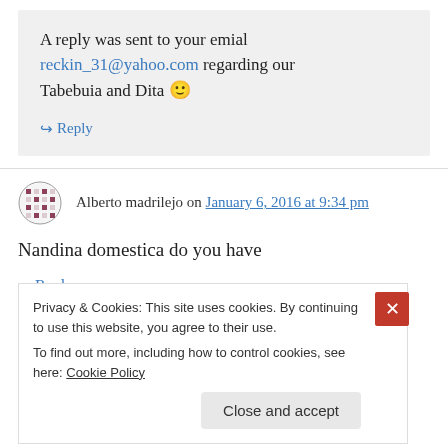A reply was sent to your emial reckin_31@yahoo.com regarding our Tabebuia and Dita 🙂
↪ Reply
Alberto madrilejo on January 6, 2016 at 9:34 pm
Nandina domestica do you have
↪ Reply
Privacy & Cookies: This site uses cookies. By continuing to use this website, you agree to their use.
To find out more, including how to control cookies, see here: Cookie Policy
Close and accept